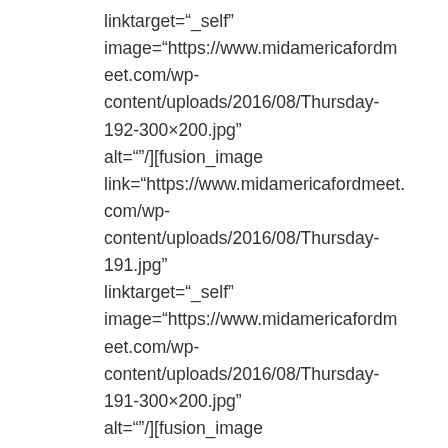linktarget="_self" image="https://www.midamericafordmeet.com/wp-content/uploads/2016/08/Thursday-192-300×200.jpg" alt=""/][fusion_image link="https://www.midamericafordmeet.com/wp-content/uploads/2016/08/Thursday-191.jpg" linktarget="_self" image="https://www.midamericafordmeet.com/wp-content/uploads/2016/08/Thursday-191-300×200.jpg" alt=""/][fusion_image link="https://www.midamericafordmeet.com/wp-content/uploads/2016/08/Thursday-190.jpg" linktarget="_self" image="https://www.midamericafordmeet.com/wp-content/uploads/2016/08/Thursday-190-300×200.jpg" alt=""/][fusion_image link="https://www.midamericafordmeet.com/wp-content/uploads/2016/08/Thursday-189.jpg" linktarget="_self"